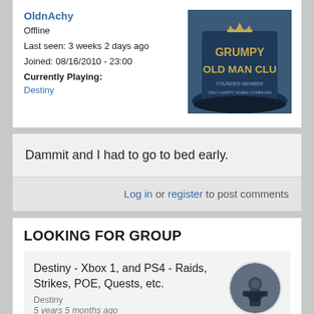OldnAchy
Offline
Last seen: 3 weeks 2 days ago
Joined: 08/16/2010 - 23:00
Currently Playing:
Destiny
[Figure (photo): Grumpy Old Man Club hat in dark blue with gold text]
Dammit and I had to go to bed early.
Log in or register to post comments
LOOKING FOR GROUP
Destiny - Xbox 1, and PS4 - Raids, Strikes, POE, Quests, etc.
Destiny
5 years 5 months ago
[Figure (photo): Circular thumbnail image of a Destiny game character]
2o2p Crew seeks rockers!
Rock Band 4
5 years 7 months ago
[Figure (photo): Circular dark thumbnail image]